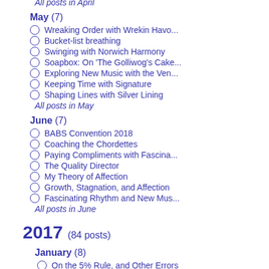All posts in April
May (7)
Wreaking Order with Wrekin Havo...
Bucket-list breathing
Swinging with Norwich Harmony
Soapbox: On 'The Golliwog's Cake...
Exploring New Music with the Ven...
Keeping Time with Signature
Shaping Lines with Silver Lining
All posts in May
June (7)
BABS Convention 2018
Coaching the Chordettes
Paying Compliments with Fascina...
The Quality Director
My Theory of Affection
Growth, Stagnation, and Affection
Fascinating Rhythm and New Mus...
All posts in June
2017 (84 posts)
January (8)
On the 5% Rule, and Other Errors
Constructing Medleys
On All-Woman Shortlists
Performance with a Blank Mind
New Project for 2017